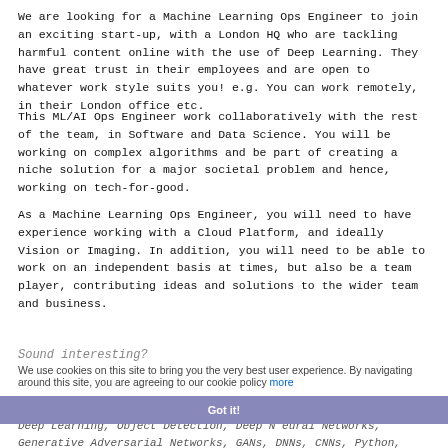We are looking for a Machine Learning Ops Engineer to join an exciting start-up, with a London HQ who are tackling harmful content online with the use of Deep Learning. They have great trust in their employees and are open to whatever work style suits you! e.g. You can work remotely, in their London office etc.
This ML/AI Ops Engineer work collaboratively with the rest of the team, in Software and Data Science. You will be working on complex algorithms and be part of creating a niche solution for a major societal problem and hence, working on tech-for-good.
As a Machine Learning Ops Engineer, you will need to have experience working with a Cloud Platform, and ideally Vision or Imaging. In addition, you will need to be able to work on an independent basis at times, but also be a team player, contributing ideas and solutions to the wider team and business.
Sound interesting?
We use cookies on this site to bring you the very best user experience. By navigating around this site, you are agreeing to our cookie policy more
Key Words: Machine Learning, Ops, SecOps, Computer Vision, Deep Learning, Object Detection, Deep Neural Networks, Generative Adversarial Networks, GANs, DNNs, CNNs, Python, Java, PyTorch,